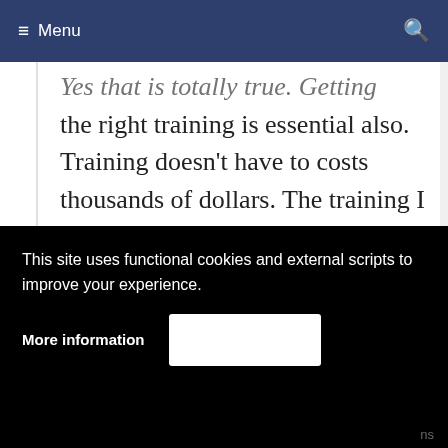≡ Menu
Yes that is totally true. Getting the right training is essential also. Training doesn't have to costs thousands of dollars. The training I use and still do is sort after by most of the top university's.
This site uses functional cookies and external scripts to improve your experience.
More information